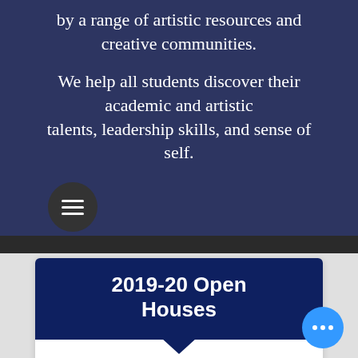by a range of artistic resources and creative communities.
We help all students discover their academic and artistic talents, leadership skills, and sense of self.
[Figure (other): Circular dark hamburger menu button with three horizontal white lines]
2019-20 Open Houses
Attending an Open House is an excellent way to learn more about our school! Visitors who attend an Open House will receive a tour of the building, visit a class (for daytime
[Figure (other): Blue circular chat button with three white dots]